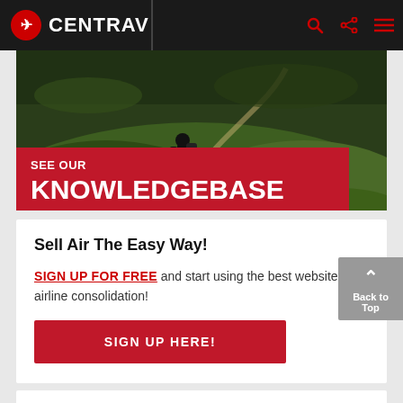CENTRAV
[Figure (screenshot): Hero image showing a hiker with backpack on a mountain trail with green vegetation, with a red overlay banner reading SEE OUR KNOWLEDGEBASE]
Sell Air The Easy Way!
SIGN UP FOR FREE and start using the best website in airline consolidation!
SIGN UP HERE!